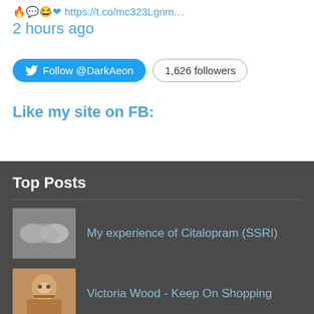2 hours ago
Follow @DarkAeon  1,626 followers
Like my site on FB:
Top Posts
My experience of Citalopram (SSRI)
Victoria Wood - Keep On Shopping
Desperate Housewives - Seasons 1 thro' 5 Box Set